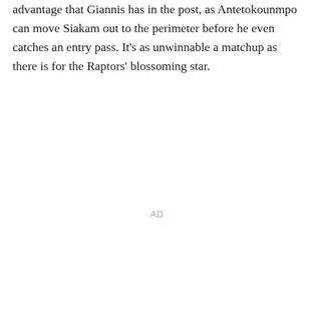advantage that Giannis has in the post, as Antetokounmpo can move Siakam out to the perimeter before he even catches an entry pass. It's as unwinnable a matchup as there is for the Raptors' blossoming star.
AD